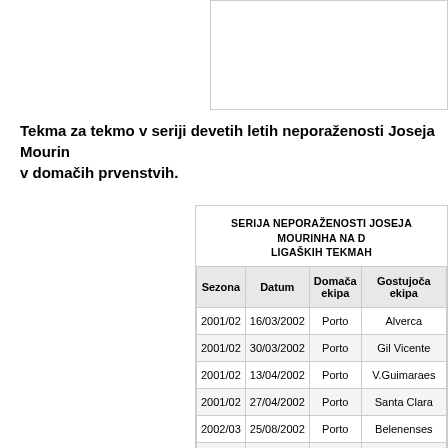[Figure (other): Cropped image or photo partial view at top right of page]
Tekma za tekmo v seriji devetih letih neporaženosti Joseja Mourinha v domačih prvenstvih.
| Sezona | Datum | Domača ekipa | Gostujoča ekipa |
| --- | --- | --- | --- |
| 2001/02 | 16/03/2002 | Porto | Alverca |
| 2001/02 | 30/03/2002 | Porto | Gil Vicente |
| 2001/02 | 13/04/2002 | Porto | V.Guimaraes |
| 2001/02 | 27/04/2002 | Porto | Santa Clara |
| 2002/03 | 25/08/2002 | Porto | Belenenses |
| 2002/03 | 15/09/2002 | Porto | Gil Vicente |